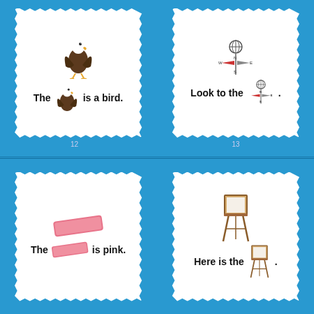[Figure (illustration): Flash card page 12: bald eagle image with text 'The [eagle] is a bird.']
[Figure (illustration): Flash card page 13: weather vane image with text 'Look to the [weather vane].']
[Figure (illustration): Flash card: pink eraser image with text 'The [eraser] is pink.']
[Figure (illustration): Flash card: easel image with text 'Here is the [easel].']